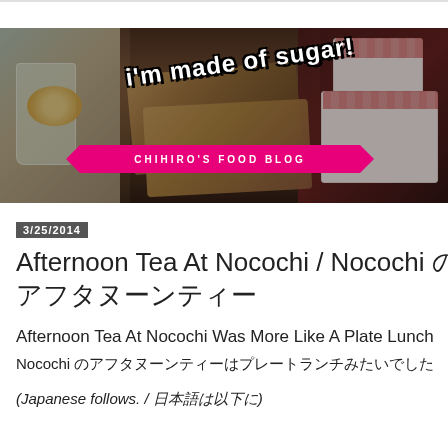[Figure (photo): Blog banner image showing a food blog called 'i'm made of sugar! - Chihiro's Food Blog' with dessert photos including a glass with fruit, s'mores, and a white cake with red berries on a dark background with a pink ribbon banner.]
3/25/2014
Afternoon Tea At Nocochi / Nocochi のアフタヌーンティー
Afternoon Tea At Nocochi Was More Like A Plate Lunch
Nocochi のアフタヌーンティーはプレートランチみたいでした
(Japanese follows. / 日本語は以下に)